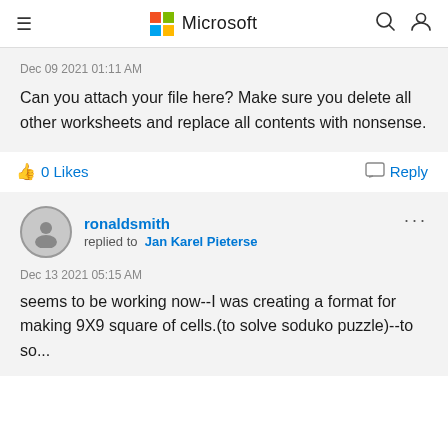Microsoft
Dec 09 2021 01:11 AM
Can you attach your file here? Make sure you delete all other worksheets and replace all contents with nonsense.
0 Likes
Reply
ronaldsmith replied to Jan Karel Pieterse
Dec 13 2021 05:15 AM
seems to be working now--I was creating a format for making 9X9 square of cells.(to solve soduko puzzle)--to so...